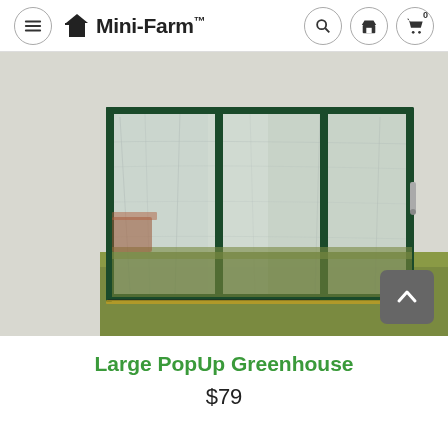Mini-Farm™ navigation header with hamburger menu, logo, search, store, and cart icons
[Figure (photo): Large PopUp Greenhouse product photo showing a transparent PVC greenhouse with dark green frame poles, partially open front, set on grass outdoors]
Large PopUp Greenhouse
$79